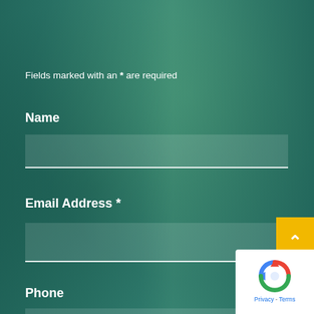Fields marked with an * are required
Name
Email Address *
Phone
[Figure (other): Yellow scroll-to-top button with upward chevron arrow]
[Figure (other): Google reCAPTCHA badge with Privacy and Terms links]